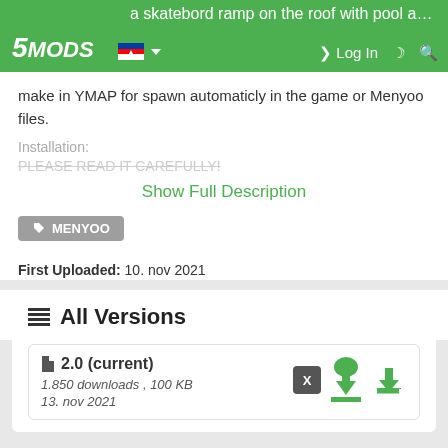5MODS – a skatebord ramp on the roof with pool and solar panel.
make in YMAP for spawn automaticly in the game or Menyoo files.
Installation:
PLEASE READ IT CAREFULLY!
Show Full Description
MENYOO
First Uploaded: 10. nov 2021
Last Updated: 14. nov 2021
Last Downloaded: okoli 17 ur
All Versions
2.0 (current)
1.850 downloads , 100 KB
13. nov 2021